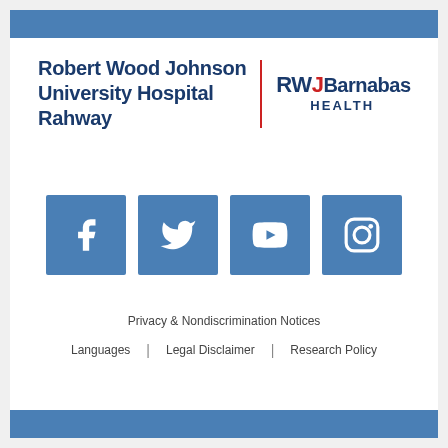Robert Wood Johnson University Hospital Rahway | RWJBarnabas HEALTH
[Figure (logo): Social media icons: Facebook, Twitter, YouTube, Instagram - blue square buttons with white icons]
Privacy & Nondiscrimination Notices
Languages | Legal Disclaimer | Research Policy